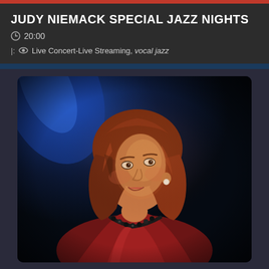JUDY NIEMACK SPECIAL JAZZ NIGHTS
20:00
Live Concert-Live Streaming, vocal jazz
[Figure (photo): Portrait photo of Judy Niemack, a woman with auburn hair wearing a red satin dress and black bead necklace, lit dramatically against a dark blue and black background, looking upward with a smile.]